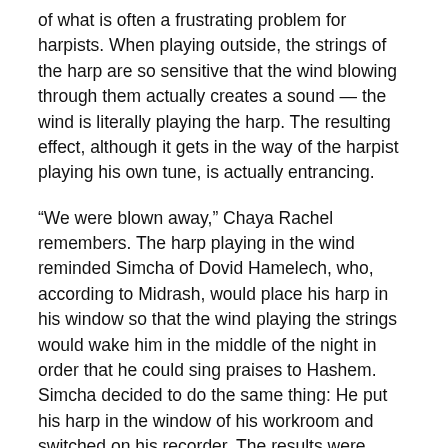of what is often a frustrating problem for harpists. When playing outside, the strings of the harp are so sensitive that the wind blowing through them actually creates a sound — the wind is literally playing the harp. The resulting effect, although it gets in the way of the harpist playing his own tune, is actually entrancing.
“We were blown away,” Chaya Rachel remembers. The harp playing in the wind reminded Simcha of Dovid Hamelech, who, according to Midrash, would place his harp in his window so that the wind playing the strings would wake him in the middle of the night in order that he could sing praises to Hashem. Simcha decided to do the same thing: He put his harp in the window of his workroom and switched on his recorder. The results were amazing — an ethereal sound that has an incredibly relaxing, healing effect.